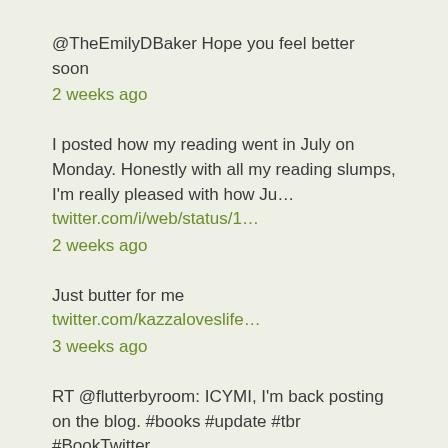@TheEmilyDBaker Hope you feel better soon
2 weeks ago
I posted how my reading went in July on Monday. Honestly with all my reading slumps, I'm really pleased with how Ju… twitter.com/i/web/status/1…
2 weeks ago
Just butter for me twitter.com/kazzaloveslife…
3 weeks ago
RT @flutterbyroom: ICYMI, I'm back posting on the blog. #books #update #tbr #BookTwitter
3 weeks ago
ICYMI, I'm back posting on the blog. #books #update